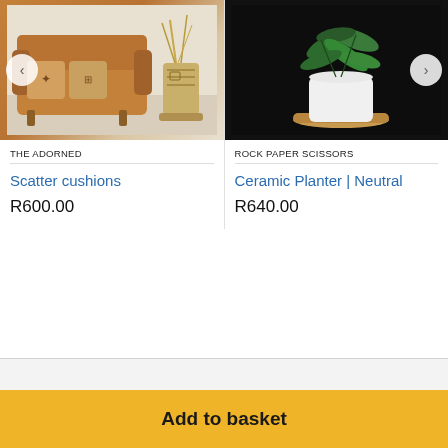[Figure (photo): Tan leather sofa with decorative cushions and a patterned ceramic vase with dried grasses behind it, light background]
[Figure (photo): Green tropical plant in a white ceramic pot with a wooden base, sitting on a dark surface against a black background]
THE ADORNED
ROCK PAPER SCISSORS
Scatter cushions
Ceramic Planter | Neutral
R600.00
R640.00
Add to basket